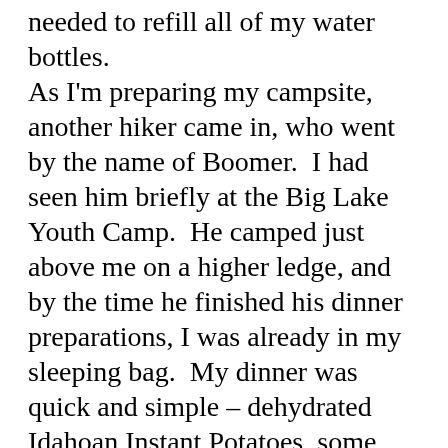needed to refill all of my water bottles.
As I'm preparing my campsite, another hiker came in, who went by the name of Boomer.  I had seen him briefly at the Big Lake Youth Camp.  He camped just above me on a higher ledge, and by the time he finished his dinner preparations, I was already in my sleeping bag.  My dinner was quick and simple – dehydrated Idahoan Instant Potatoes, some cookies, and dried fruit.  Just before dozing off, Swiss Army came into camp and settled next to me.  Lt. Dan passed by in the dark and Cookie was camped a few miles away.